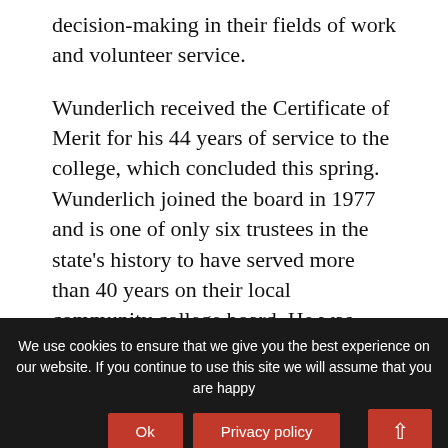decision-making in their fields of work and volunteer service.
Wunderlich received the Certificate of Merit for his 44 years of service to the college, which concluded this spring. Wunderlich joined the board in 1977 and is one of only six trustees in the state's history to have served more than 40 years on their local community college board. He was honored at the April 28 board meeting, and celebrated with a video tribute during JJC's Night of Stars ceremony.
Outstanding Full-Time Faculty Member Award nominee Dr. Mary Beth Luna has served the college
We use cookies to ensure that we give you the best experience on our website. If you continue to use this site we will assume that you are happy